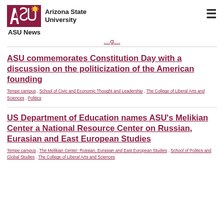Arizona State University — ASU News
…g…
ASU commemorates Constitution Day with a discussion on the politicization of the American founding
Tempe campus , School of Civic and Economic Thought and Leadership , The College of Liberal Arts and Sciences , Politics
US Department of Education names ASU's Melikian Center a National Resource Center on Russian, Eurasian and East European Studies
Tempe campus , The Melikian Center: Russian, Eurasian and East European Studies , School of Politics and Global Studies , The College of Liberal Arts and Sciences